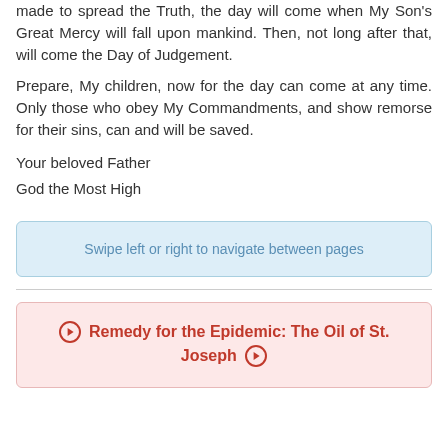made to spread the Truth, the day will come when My Son's Great Mercy will fall upon mankind. Then, not long after that, will come the Day of Judgement.
Prepare, My children, now for the day can come at any time. Only those who obey My Commandments, and show remorse for their sins, can and will be saved.
Your beloved Father
God the Most High
Swipe left or right to navigate between pages
Remedy for the Epidemic: The Oil of St. Joseph